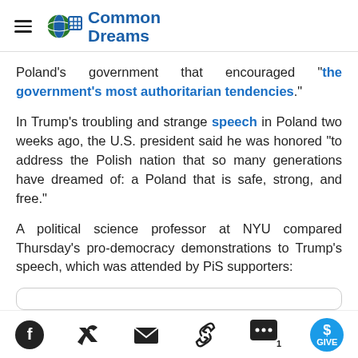Common Dreams
Poland's government that encouraged "the government's most authoritarian tendencies."
In Trump's troubling and strange speech in Poland two weeks ago, the U.S. president said he was honored "to address the Polish nation that so many generations have dreamed of: a Poland that is safe, strong, and free."
A political science professor at NYU compared Thursday's pro-democracy demonstrations to Trump's speech, which was attended by PiS supporters:
Social share bar: Facebook, Twitter, Email, Link, Comments (1), Give